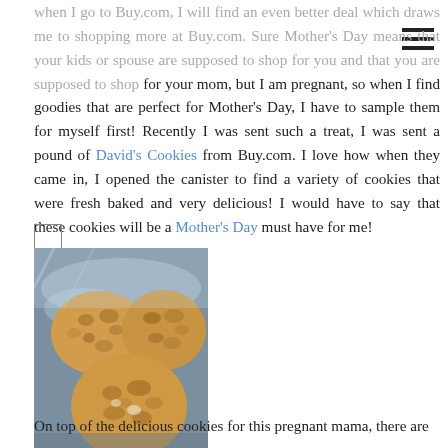when I go to Buy.com, I will find an even better deal which draws me to shopping more at Buy.com. Sure Mother's Day means that your kids or spouse are supposed to shop for you and that you are supposed to shop for your mom, but I am pregnant, so when I find goodies that are perfect for Mother's Day, I have to sample them for myself first! Recently I was sent such a treat, I was sent a pound of David's Cookies from Buy.com. I love how when they came in, I opened the canister to find a variety of cookies that were fresh baked and very delicious! I would have to say that these cookies will be a Mother's Day must have for me!
[Figure (photo): Photo of three large cookies in a clear plastic bag, showing oatmeal/chocolate chip style cookies in a canister.]
On top of the delicious cookies for this pregnant mama, there are